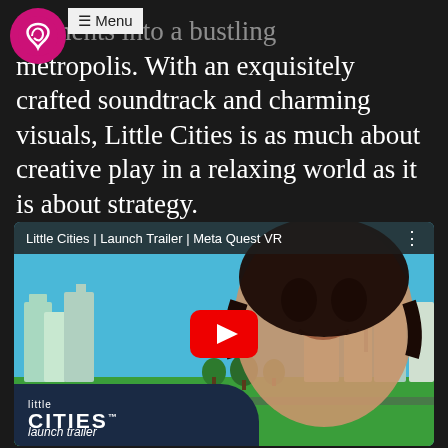[Figure (screenshot): Navigation bar with pink circular logo icon and a grey Menu button]
...ttlements into a bustling metropolis. With an exquisitely crafted soundtrack and charming visuals, Little Cities is as much about creative play in a relaxing world as it is about strategy.
[Figure (screenshot): YouTube video embed thumbnail for 'Little Cities | Launch Trailer | Meta Quest VR' showing a woman smiling over a miniature city diorama, with the Little Cities logo and 'launch trailer' text at the bottom, and a red YouTube play button in the center.]